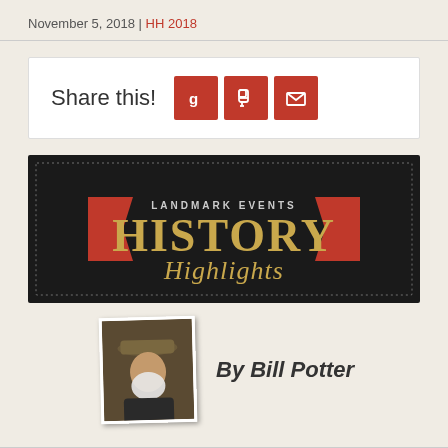November 5, 2018 | HH 2018
[Figure (infographic): Share this! with three red social sharing buttons (G, P, envelope icons)]
[Figure (logo): Landmark Events History Highlights banner logo on dark background with red ribbon accents]
[Figure (photo): Author photo of Bill Potter wearing a hat, with white beard]
By Bill Potter